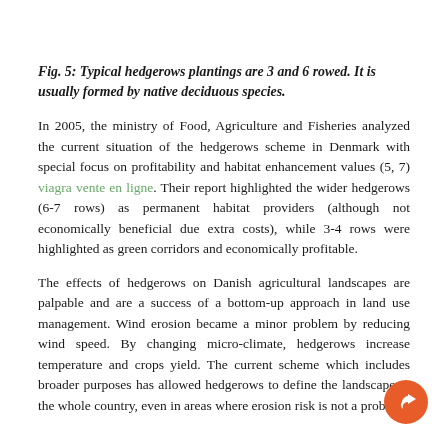Fig. 5: Typical hedgerows plantings are 3 and 6 rowed. It is usually formed by native deciduous species.
In 2005, the ministry of Food, Agriculture and Fisheries analyzed the current situation of the hedgerows scheme in Denmark with special focus on profitability and habitat enhancement values (5, 7) viagra vente en ligne. Their report highlighted the wider hedgerows (6-7 rows) as permanent habitat providers (although not economically beneficial due extra costs), while 3-4 rows were highlighted as green corridors and economically profitable.
The effects of hedgerows on Danish agricultural landscapes are palpable and are a success of a bottom-up approach in land use management. Wind erosion became a minor problem by reducing wind speed. By changing micro-climate, hedgerows increase temperature and crops yield. The current scheme which includes broader purposes has allowed hedgerows to define the landscape in the whole country, even in areas where erosion risk is not a problem.